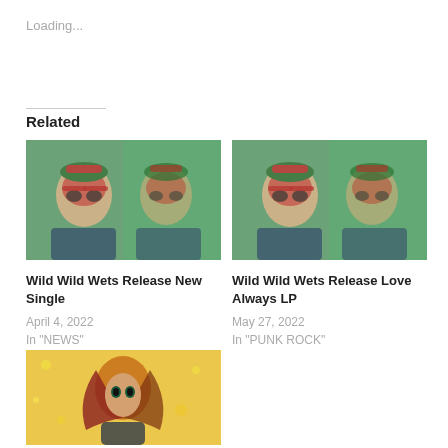Loading...
Related
[Figure (photo): Two people with colorful psychedelic face paint and hats, green/pink/red tones, album art style image used as thumbnail for 'Wild Wild Wets Release New Single']
Wild Wild Wets Release New Single
April 4, 2022
In "NEWS"
[Figure (photo): Two people with colorful psychedelic face paint and hats, green/pink/red tones, album art style image used as thumbnail for 'Wild Wild Wets Release Love Always LP']
Wild Wild Wets Release Love Always LP
May 27, 2022
In "PUNK ROCK"
[Figure (illustration): Colorful illustration on yellow background showing a figure with flowing hair, partial view]